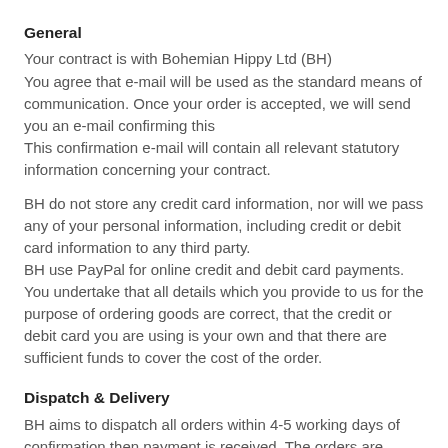General
Your contract is with Bohemian Hippy Ltd (BH)
You agree that e-mail will be used as the standard means of communication. Once your order is accepted, we will send you an e-mail confirming this
This confirmation e-mail will contain all relevant statutory information concerning your contract.
BH do not store any credit card information, nor will we pass any of your personal information, including credit or debit card information to any third party.
BH use PayPal for online credit and debit card payments.
You undertake that all details which you provide to us for the purpose of ordering goods are correct, that the credit or debit card you are using is your own and that there are sufficient funds to cover the cost of the order.
Dispatch & Delivery
BH aims to dispatch all orders within 4-5 working days of confirmation then payment is received. The orders are...